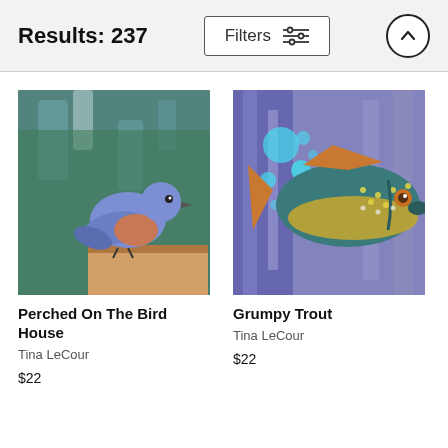Results: 237
Filters
[Figure (illustration): Painting of a bluebird with orange breast perched on a wooden birdhouse, with green and blue abstract background]
Perched On The Bird House
Tina LeCour
$22
[Figure (illustration): Painting of a grumpy-looking trout fish with teal and gold coloring, blue bubble-filled abstract background]
Grumpy Trout
Tina LeCour
$22